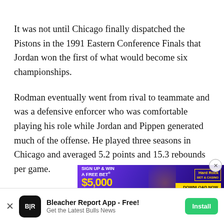It was not until Chicago finally dispatched the Pistons in the 1991 Eastern Conference Finals that Jordan won the first of what would become six championships.
Rodman eventually went from rival to teammate and was a defensive enforcer who was comfortable playing his role while Jordan and Pippen generated much of the offense. He played three seasons in Chicago and averaged 5.2 points and 15.3 rebounds per game.
While ... today's game, ... his
[Figure (other): Hard Rock casino advertisement banner: SIGN UP & WIN A FREE BET $5,000 with Hard Rock logo and DOWNLOAD NOW button]
[Figure (other): Bleacher Report App install banner at the bottom: app icon, 'Bleacher Report App - Free!', 'Get the Latest Bulls News', green Install button]